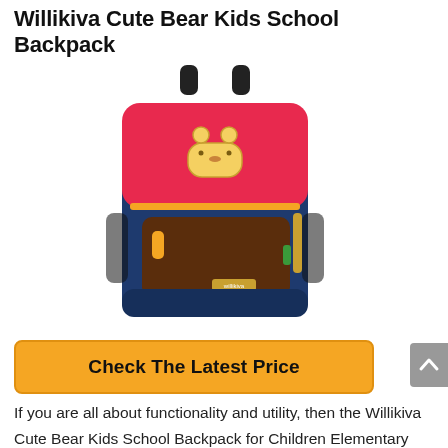Willikiva Cute Bear Kids School Backpack
[Figure (photo): A kids school backpack with navy blue body, red top flap with a cute bear emblem, dark brown front pocket with yellow zipper pull, yellow accent details, and mesh side pockets.]
Check The Latest Price
If you are all about functionality and utility, then the Willikiva Cute Bear Kids School Backpack for Children Elementary School Bags Girls Boys Bookbags will provide you with more than you